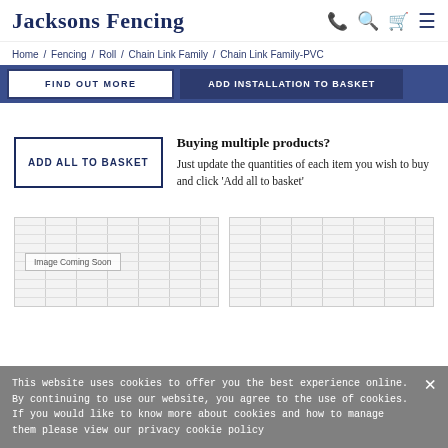Jacksons Fencing
Home / Fencing / Roll / Chain Link Family / Chain Link Family-PVC
FIND OUT MORE | ADD INSTALLATION TO BASKET
ADD ALL TO BASKET
Buying multiple products?
Just update the quantities of each item you wish to buy and click 'Add all to basket'
[Figure (photo): Image Coming Soon placeholder]
[Figure (photo): Product image placeholder with repeating text watermark]
This website uses cookies to offer you the best experience online. By continuing to use our website, you agree to the use of cookies. If you would like to know more about cookies and how to manage them please view our privacy cookie policy